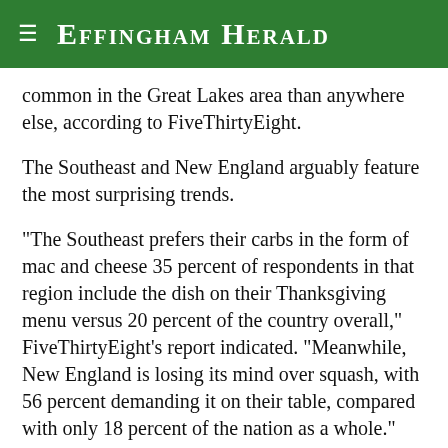Effingham Herald
common in the Great Lakes area than anywhere else, according to FiveThirtyEight.
The Southeast and New England arguably feature the most surprising trends.
"The Southeast prefers their carbs in the form of mac and cheese 35 percent of respondents in that region include the dish on their Thanksgiving menu versus 20 percent of the country overall," FiveThirtyEight's report indicated. "Meanwhile, New England is losing its mind over squash, with 56 percent demanding it on their table, compared with only 18 percent of the nation as a whole."
Don't forget dessert especially the pie.